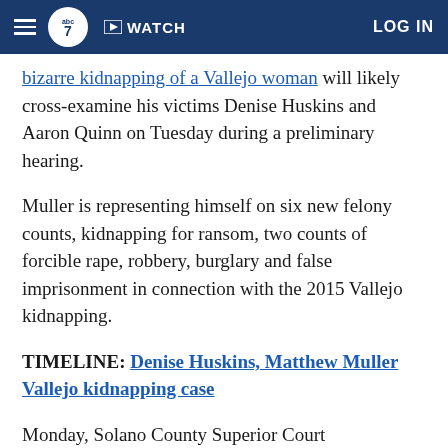ABC7 navigation bar with hamburger menu, ABC7 logo, WATCH button, and LOG IN
bizarre kidnapping of a Vallejo woman will likely cross-examine his victims Denise Huskins and Aaron Quinn on Tuesday during a preliminary hearing.
Muller is representing himself on six new felony counts, kidnapping for ransom, two counts of forcible rape, robbery, burglary and false imprisonment in connection with the 2015 Vallejo kidnapping.
TIMELINE: Denise Huskins, Matthew Muller Vallejo kidnapping case
Monday, Solano County Superior Court Commissioner Robert Q. Warshawsky granted Muller's intention to represent himself.